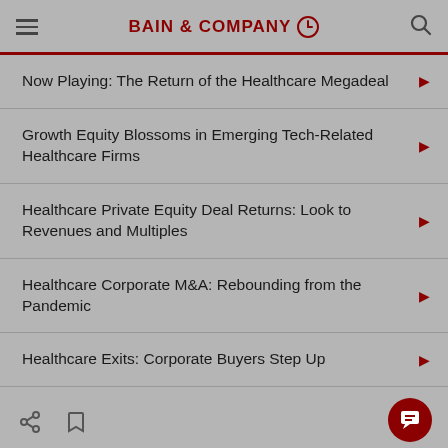BAIN & COMPANY
Now Playing: The Return of the Healthcare Megadeal
Growth Equity Blossoms in Emerging Tech-Related Healthcare Firms
Healthcare Private Equity Deal Returns: Look to Revenues and Multiples
Healthcare Corporate M&A: Rebounding from the Pandemic
Healthcare Exits: Corporate Buyers Step Up
Healthcare Private Equity Outlook 2022 and...